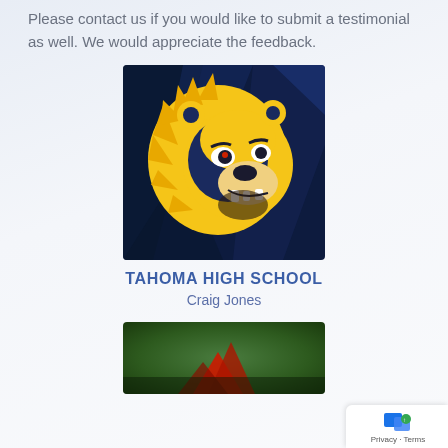Please contact us if you would like to submit a testimonial as well. We would appreciate the feedback.
[Figure (logo): Tahoma High School bear mascot logo — a fierce golden bear head on a dark blue background]
TAHOMA HIGH SCHOOL
Craig Jones
[Figure (photo): Partially visible second school logo/image with green and red colors, partially cut off at bottom of page]